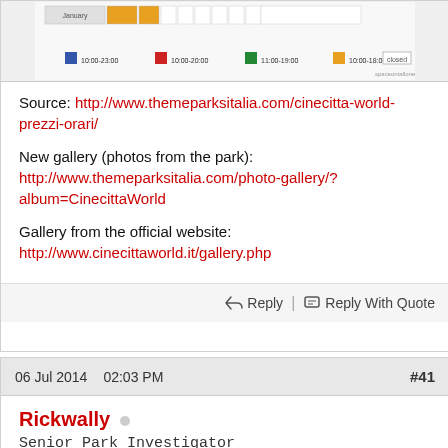[Figure (screenshot): Partial screenshot of a schedule/timetable chart with colored blocks and legend showing time ranges]
Source: http://www.themeparksitalia.com/cinecitta-world-prezzi-orari/
New gallery (photos from the park): http://www.themeparksitalia.com/photo-gallery/?album=CinecittaWorld
Gallery from the official website: http://www.cinecittaworld.it/gallery.php
Reply | Reply With Quote
06 Jul 2014   02:03 PM   #41
Rickwally
Senior Park Investigator
Join Date: Apr 2013
Posts: 19